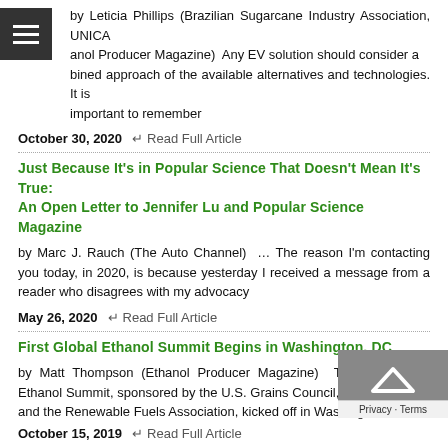by Leticia Phillips (Brazilian Sugarcane Industry Association, UNICA anol Producer Magazine)  Any EV solution should consider a bined approach of the available alternatives and technologies. It is important to remember
October 30, 2020   ↩ Read Full Article
Just Because It's in Popular Science That Doesn't Mean It's True: An Open Letter to Jennifer Lu and Popular Science Magazine
by Marc J. Rauch (The Auto Channel)  … The reason I'm contacting you today, in 2020, is because yesterday I received a message from a reader who disagrees with my advocacy
May 26, 2020   ↩ Read Full Article
First Global Ethanol Summit Begins in Washington, DC
by Matt Thompson (Ethanol Producer Magazine)  The first Global Ethanol Summit, sponsored by the U.S. Grains Council, Growth Energy and the Renewable Fuels Association, kicked off in Washington on Oct.
October 15, 2019   ↩ Read Full Article